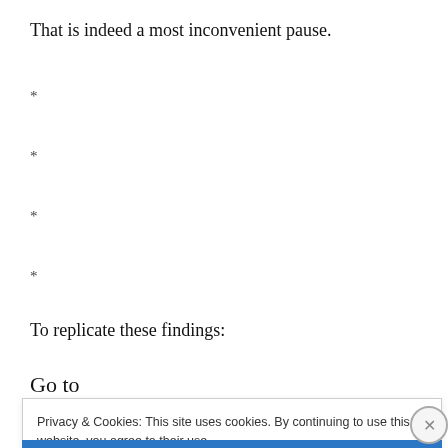That is indeed a most inconvenient pause.
*
*
*
*
To replicate these findings:
Go to
Privacy & Cookies: This site uses cookies. By continuing to use this website, you agree to their use.
To find out more, including how to control cookies, see here: Cookie Policy
Close and accept